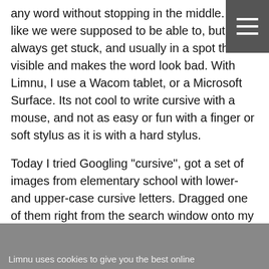any word without stopping in the middle. I felt like we were supposed to be able to, but I always get stuck, and usually in a spot that's visible and makes the word look bad. With Limnu, I use a Wacom tablet, or a Microsoft Surface. Its not cool to write cursive with a mouse, and not as easy or fun with a finger or soft stylus as it is with a hard stylus.
Today I tried Googling "cursive", got a set of images from elementary school with lower- and upper-case cursive letters. Dragged one of them right from the search window onto my Limnu board, and started tracing letters like I was in 3rd grade again. I'd forgotten how to do most of the capital letters, and forgotten how many flowery and unnecessary movements we were taught to use.
Limnu uses cookies to give you the best online